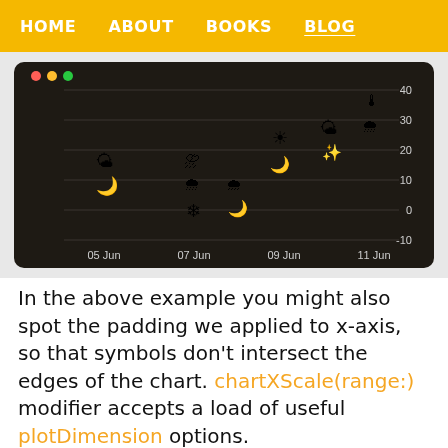HOME   ABOUT   BOOKS   BLOG
[Figure (screenshot): A dark-themed weather chart showing weather icons (sun, cloud, snow, etc.) plotted over dates from 05 Jun to 11 Jun on the x-axis and temperature values from -10 to 40 on the y-axis. The chart has a dark brown/black background with gridlines.]
In the above example you might also spot the padding we applied to x-axis, so that symbols don't intersect the edges of the chart. chartXScale(range:) modifier accepts a load of useful plotDimension options.